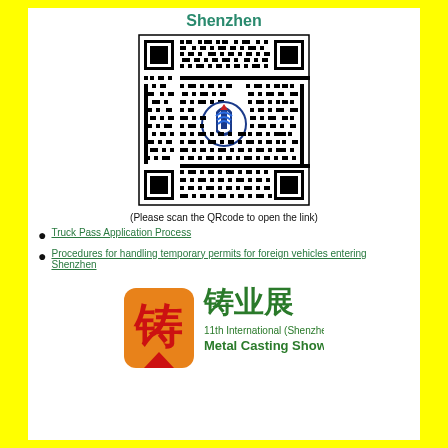Shenzhen
[Figure (other): QR code with logo in center for scanning a link related to Shenzhen truck/vehicle permits]
(Please scan the QRcode to open the link)
Truck Pass Application Process
Procedures for handling temporary permits for foreign vehicles entering Shenzhen
[Figure (logo): 11th International (Shenzhen) Metal Casting Show logo with Chinese characters 铸业展]